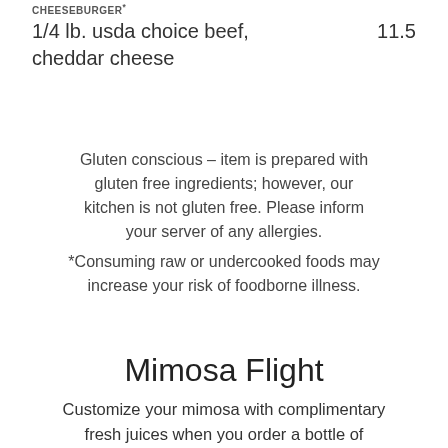CHEESEBURGER*
1/4 lb. usda choice beef, cheddar cheese	11.5
Gluten conscious – item is prepared with gluten free ingredients; however, our kitchen is not gluten free. Please inform your server of any allergies.
*Consuming raw or undercooked foods may increase your risk of foodborne illness.
Mimosa Flight
Customize your mimosa with complimentary fresh juices when you order a bottle of